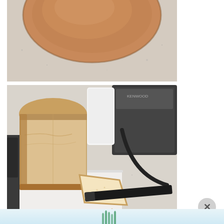[Figure (photo): Top portion of a round loaf of bread on a light speckled countertop, partially cropped at top]
[Figure (photo): A square loaf of bread with one slice cut beside it on a white cutting board, with a black bread knife, kitchen appliances visible in background]
[Figure (photo): Small thumbnail image of a bread machine with bread paddles inside]
The Bread Machine Ingredients: All You Need to Know
https://www.kitchensurfing.com
To efficiently use your bread machine and create good and quality bread, one of the main things to consider is having the right ingredients…